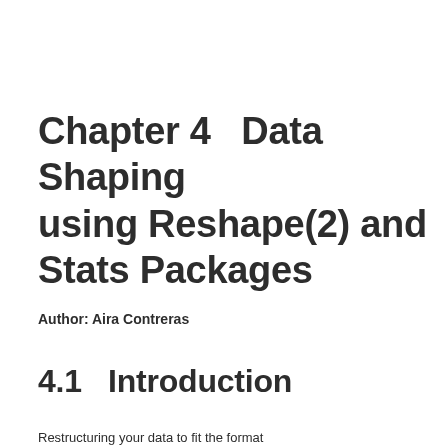Chapter 4   Data Shaping using Reshape(2) and Stats Packages
Author: Aira Contreras
4.1   Introduction
Restructuring your data to fit the format